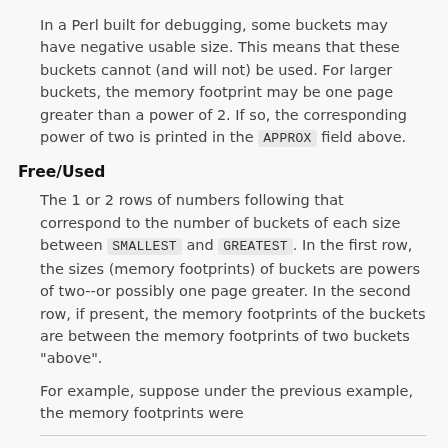In a Perl built for debugging, some buckets may have negative usable size. This means that these buckets cannot (and will not) be used. For larger buckets, the memory footprint may be one page greater than a power of 2. If so, the corresponding power of two is printed in the APPROX field above.
Free/Used
The 1 or 2 rows of numbers following that correspond to the number of buckets of each size between SMALLEST and GREATEST. In the first row, the sizes (memory footprints) of buckets are powers of two--or possibly one page greater. In the second row, if present, the memory footprints of the buckets are between the memory footprints of two buckets "above".
For example, suppose under the previous example, the memory footprints were